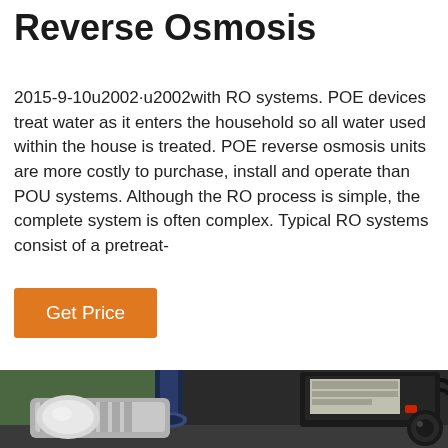Reverse Osmosis
2015-9-10u2002·u2002with RO systems. POE devices treat water as it enters the household so all water used within the house is treated. POE reverse osmosis units are more costly to purchase, install and operate than POU systems. Although the RO process is simple, the complete system is often complex. Typical RO systems consist of a pretreat-
[Figure (photo): Close-up photograph of a reverse osmosis pump system showing metallic fittings, a blue/black pipe, and a black control box with wiring on a green background.]